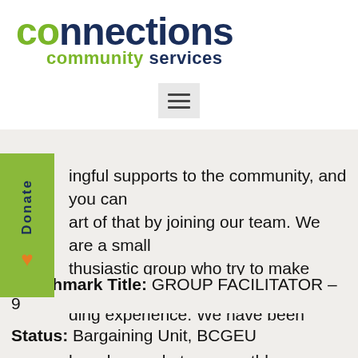[Figure (logo): Connections Community Services logo with green 'co' prefix and dark blue 'nnections' text, with 'community services' below in green and dark blue]
ingful supports to the community, and you can art of that by joining our team. We are a small thusiastic group who try to make work a ding experience. We have been known to share h and a meal at our monthly meetings and we always try to maintain our work/life balance. If you are looking for a place to belong, make a difference and learn new skills, this is the place for you.
Benchmark Title: GROUP FACILITATOR – 9
Status: Bargaining Unit, BCGEU